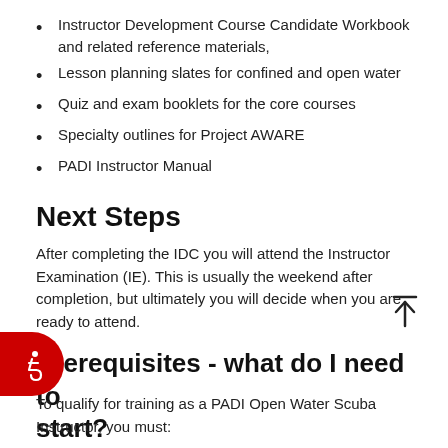Instructor Development Course Candidate Workbook and related reference materials,
Lesson planning slates for confined and open water
Quiz and exam booklets for the core courses
Specialty outlines for Project AWARE
PADI Instructor Manual
Next Steps
After completing the IDC you will attend the Instructor Examination (IE). This is usually the weekend after completion, but ultimately you will decide when you are ready to attend.
Prerequisites - what do I need to start?
To qualify for training as a PADI Open Water Scuba Instructor, you must: